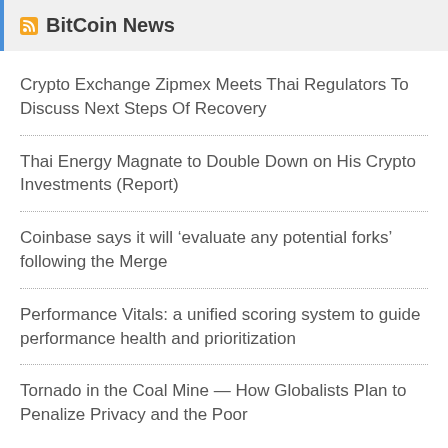BitCoin News
Crypto Exchange Zipmex Meets Thai Regulators To Discuss Next Steps Of Recovery
Thai Energy Magnate to Double Down on His Crypto Investments (Report)
Coinbase says it will ‘evaluate any potential forks’ following the Merge
Performance Vitals: a unified scoring system to guide performance health and prioritization
Tornado in the Coal Mine — How Globalists Plan to Penalize Privacy and the Poor